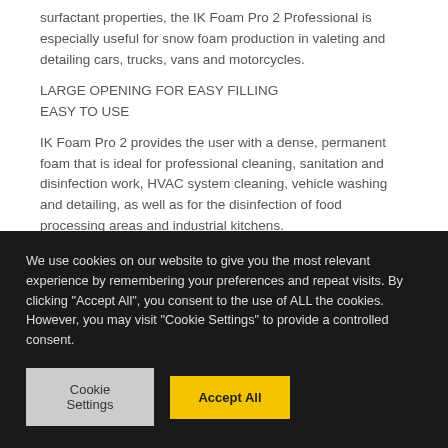surfactant properties, the IK Foam Pro 2 Professional is especially useful for snow foam production in valeting and detailing cars, trucks, vans and motorcycles.
LARGE OPENING FOR EASY FILLING
EASY TO USE
IK Foam Pro 2 provides the user with a dense, permanent foam that is ideal for professional cleaning, sanitation and disinfection work, HVAC system cleaning, vehicle washing and detailing, as well as for the disinfection of food processing areas and industrial kitchens.
We use cookies on our website to give you the most relevant experience by remembering your preferences and repeat visits. By clicking "Accept All", you consent to the use of ALL the cookies. However, you may visit "Cookie Settings" to provide a controlled consent.